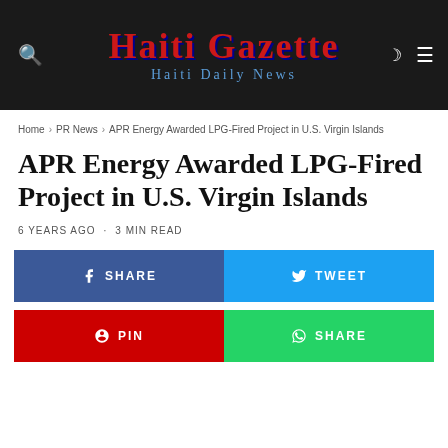Haiti Gazette — Haiti Daily News
Home > PR News > APR Energy Awarded LPG-Fired Project in U.S. Virgin Islands
APR Energy Awarded LPG-Fired Project in U.S. Virgin Islands
6 YEARS AGO · 3 MIN READ
[Figure (infographic): Social share buttons: Facebook SHARE (blue), Twitter TWEET (light blue), Pinterest PIN (red), WhatsApp SHARE (green)]